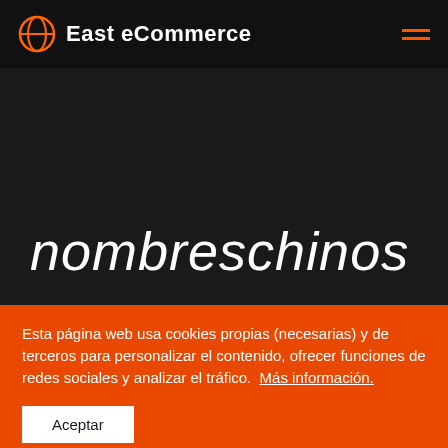East eCommerce
nombreschinos
15 junio, 2020
Esta página web usa cookies propias (necesarias) y de terceros para personalizar el contenido, ofrecer funciones de redes sociales y analizar el tráfico.  Más información.
Aceptar